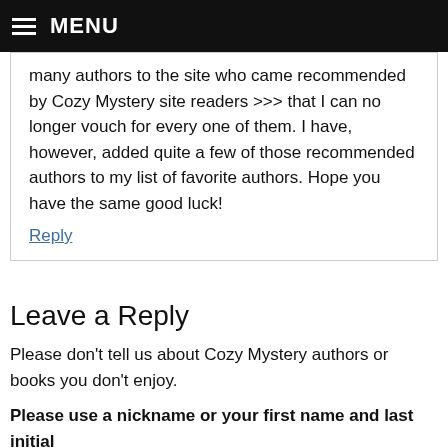MENU
many authors to the site who came recommended by Cozy Mystery site readers >>> that I can no longer vouch for every one of them. I have, however, added quite a few of those recommended authors to my list of favorite authors. Hope you have the same good luck!
Reply
Leave a Reply
Please don't tell us about Cozy Mystery authors or books you don't enjoy.
Please use a nickname or your first name and last initial (unless you are an author and want your full name to appear).
Your email address will not be published. Required fields are marked *